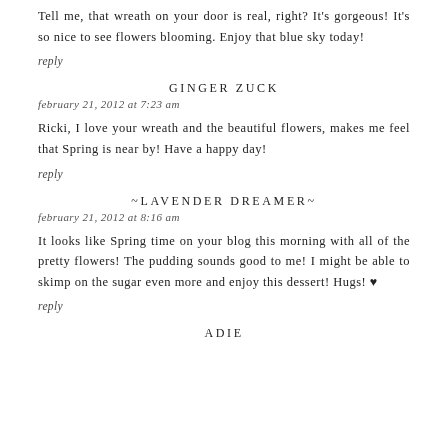Tell me, that wreath on your door is real, right? It's gorgeous! It's so nice to see flowers blooming. Enjoy that blue sky today!
reply
GINGER ZUCK
february 21, 2012 at 7:23 am
Ricki, I love your wreath and the beautiful flowers, makes me feel that Spring is near by! Have a happy day!
reply
~LAVENDER DREAMER~
february 21, 2012 at 8:16 am
It looks like Spring time on your blog this morning with all of the pretty flowers! The pudding sounds good to me! I might be able to skimp on the sugar even more and enjoy this dessert! Hugs! ♥
reply
ADIE